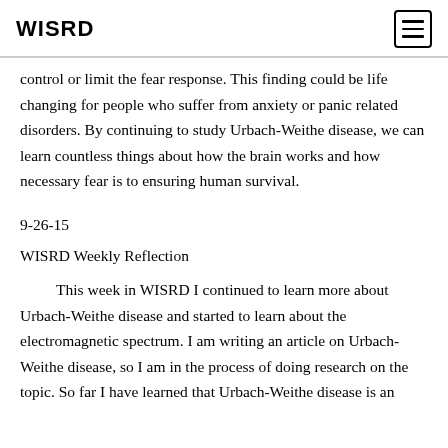WISRD
control or limit the fear response. This finding could be life changing for people who suffer from anxiety or panic related disorders. By continuing to study Urbach-Weithe disease, we can learn countless things about how the brain works and how necessary fear is to ensuring human survival.
9-26-15
WISRD Weekly Reflection
This week in WISRD I continued to learn more about Urbach-Weithe disease and started to learn about the electromagnetic spectrum. I am writing an article on Urbach-Weithe disease, so I am in the process of doing research on the topic. So far I have learned that Urbach-Weithe disease is an